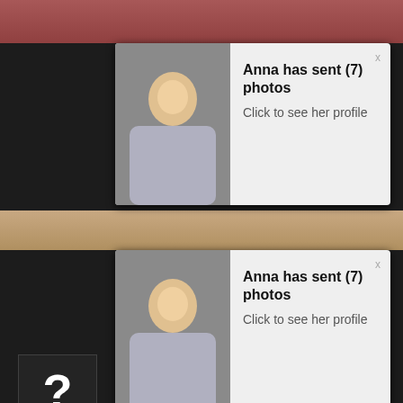[Figure (screenshot): First notification popup: Anna has sent (7) photos - Click to see her profile, with thumbnail of woman in grey outfit]
[Figure (screenshot): Second notification popup: Anna has sent (7) photos - Click to see her profile, with same thumbnail]
4 months ago
[Figure (photo): Photo of a young woman with long dark hair, looking at camera, hand near face]